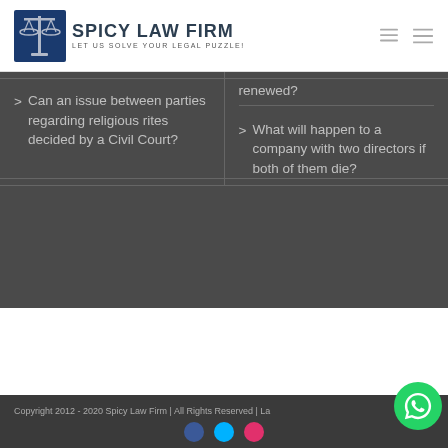SPICY LAW FIRM | LET US SOLVE YOUR LEGAL PUZZLE!
Can an issue between parties regarding religious rites decided by a Civil Court?
renewed?
What will happen to a company with two directors if both of them die?
Copyright 2012 - 2020 Spicy Law Firm | All Rights Reserved | La...